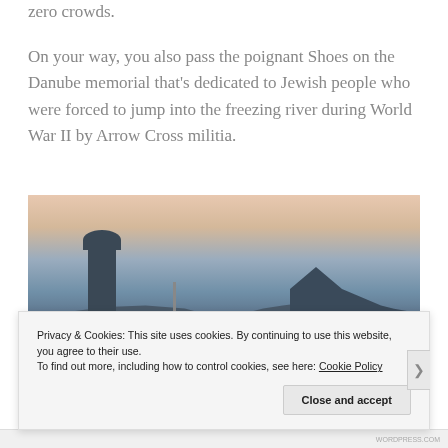zero crowds.
On your way, you also pass the poignant Shoes on the Danube memorial that's dedicated to Jewish people who were forced to jump into the freezing river during World War II by Arrow Cross militia.
[Figure (photo): Panoramic photo of the Danube river in Budapest at dusk, showing the Chain Bridge with its towers, a white riverboat/ferry in the foreground, and the Buda Castle complex on the right hillside, with a warm pink/orange sunset sky.]
Privacy & Cookies: This site uses cookies. By continuing to use this website, you agree to their use.
To find out more, including how to control cookies, see here: Cookie Policy
Close and accept